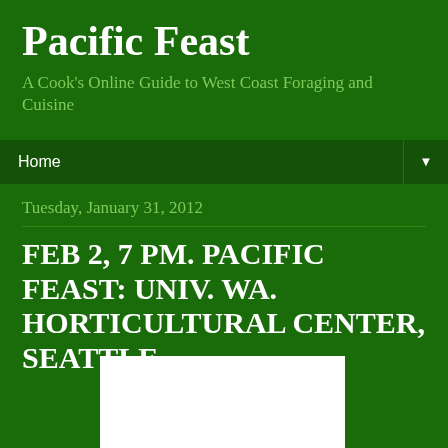Pacific Feast
A Cook's Online Guide to West Coast Foraging and Cuisine
Home ▼
Tuesday, January 31, 2012
FEB 2, 7 PM. PACIFIC FEAST: UNIV. WA. HORTICULTURAL CENTER, SEATTLE
[Figure (photo): White rectangle representing a photo or image placeholder at the bottom of the page]